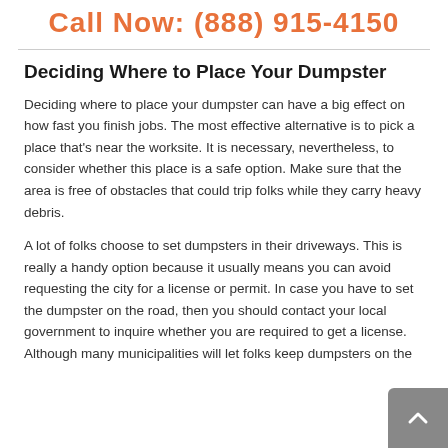Call Now: (888) 915-4150
Deciding Where to Place Your Dumpster
Deciding where to place your dumpster can have a big effect on how fast you finish jobs. The most effective alternative is to pick a place that's near the worksite. It is necessary, nevertheless, to consider whether this place is a safe option. Make sure that the area is free of obstacles that could trip folks while they carry heavy debris.
A lot of folks choose to set dumpsters in their driveways. This is really a handy option because it usually means you can avoid requesting the city for a license or permit. In case you have to set the dumpster on the road, then you should contact your local government to inquire whether you are required to get a license. Although many municipalities will let folks keep dumpsters on the